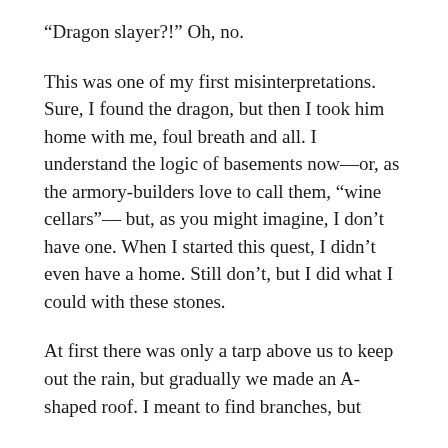“Dragon slayer?!” Oh, no.
This was one of my first misinterpretations. Sure, I found the dragon, but then I took him home with me, foul breath and all. I understand the logic of basements now––or, as the armory-builders love to call them, “wine cellars”–– but, as you might imagine, I don’t have one. When I started this quest, I didn’t even have a home. Still don’t, but I did what I could with these stones.
At first there was only a tarp above us to keep out the rain, but gradually we made an A-shaped roof. I meant to find branches, but